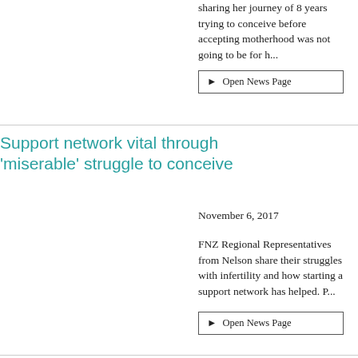sharing her journey of 8 years trying to conceive before accepting motherhood was not going to be for h...
▶ Open News Page
Support network vital through 'miserable' struggle to conceive
November 6, 2017
FNZ Regional Representatives from Nelson share their struggles with infertility and how starting a support network has helped. P...
▶ Open News Page